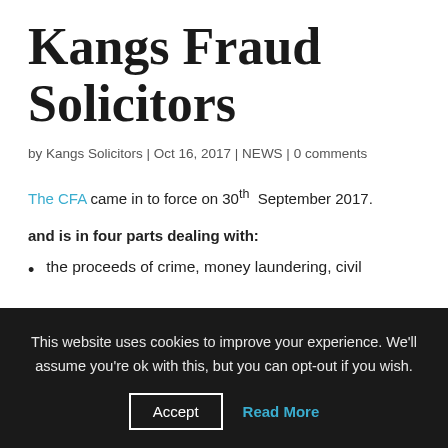Kangs Fraud Solicitors
by Kangs Solicitors | Oct 16, 2017 | NEWS | 0 comments
The CFA came in to force on 30th September 2017.
and is in four parts dealing with:
the proceeds of crime, money laundering, civil
This website uses cookies to improve your experience. We'll assume you're ok with this, but you can opt-out if you wish.